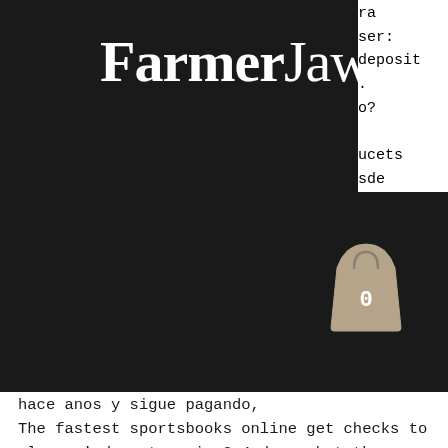FarmerJawn
ra
ser:
deposit
.
o?
ucets
sde
hace anos y sigue pagando,
The fastest sportsbooks online get checks to players' doorsteps in 3-4 days, but those speeds are rare, bitstarz como funciona. Most likely it's taking about a week and even up to two weeks for checks. Many times, it's longer.
Last week winners:
Wild Hills - 590.6 dog
La Cucaracha - 650.3 ltc
Archer - 146.1 btc
Maaax Diamonds - 160.9 eth
Wildcano with Orbital Reels - 62.4 dog